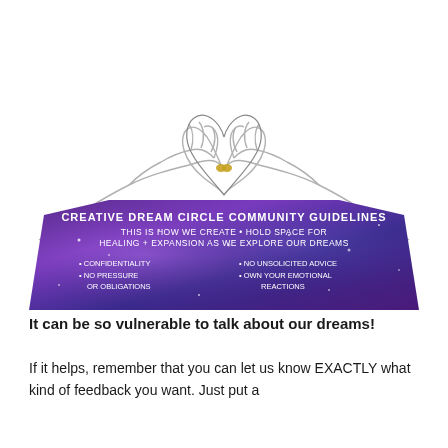[Figure (illustration): Line drawing of two hands forming a heart shape above a purple/blue galaxy-textured banner. The banner reads 'CREATIVE DREAM CIRCLE COMMUNITY GUIDELINES / THIS IS HOW WE CREATE + HOLD SPACE FOR HEALING + EXPANSION AS WE EXPLORE OUR DREAMS' with bullet points: CONFIDENTIALITY, NO PRESSURE OR OBLIGATIONS, NO UNSOLICITED ADVICE, OWN YOUR EMOTIONAL REACTIONS. Fingertips touching show a small gold/yellow detail.]
It can be so vulnerable to talk about our dreams!
If it helps, remember that you can let us know EXACTLY what kind of feedback you want. Just put a